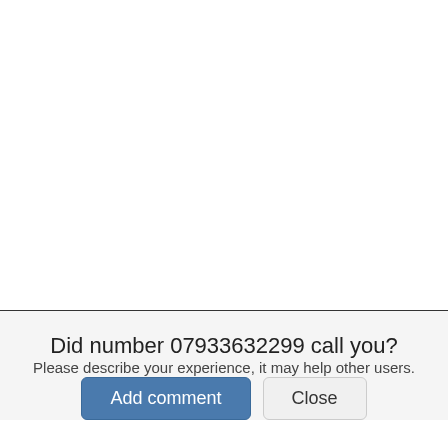Did number 07933632299 call you?
Please describe your experience, it may help other users.
[Figure (screenshot): Two buttons: 'Add comment' (blue) and 'Close' (grey)]